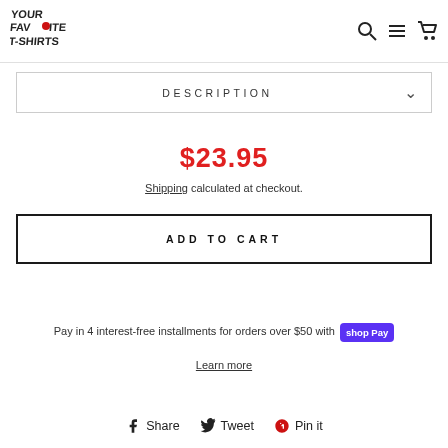[Figure (logo): Your Favorite T-Shirts logo with stylized graffiti text and a small red heart accent]
[Figure (infographic): Navigation icons: search magnifier, menu lines, shopping cart]
DESCRIPTION
$23.95
Shipping calculated at checkout.
ADD TO CART
Pay in 4 interest-free installments for orders over $50 with shop Pay
Learn more
Share  Tweet  Pin it